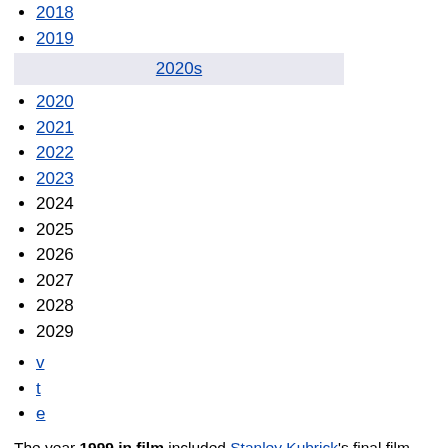2018
2019
2020s
2020
2021
2022
2023
2024
2025
2026
2027
2028
2029
v
t
e
The year 1999 in film included Stanley Kubrick's final film Eyes Wide Shut, Pedro Almodóvar's first Oscar-winning film All About My Mother, the science-fiction hit The Matrix, the animated works The Iron Giant, South Park: Bigger, Longer & Uncut and My